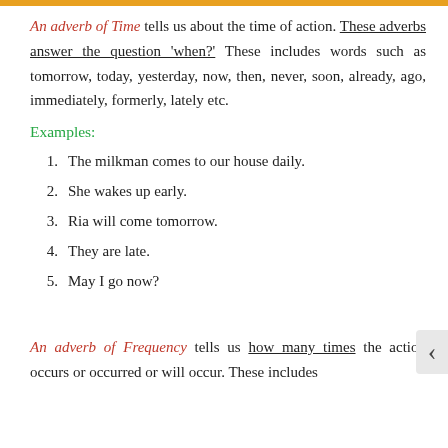An adverb of Time tells us about the time of action. These adverbs answer the question 'when?' These includes words such as tomorrow, today, yesterday, now, then, never, soon, already, ago, immediately, formerly, lately etc.
Examples:
1.  The milkman comes to our house daily.
2.  She wakes up early.
3.  Ria will come tomorrow.
4.  They are late.
5.  May I go now?
An adverb of Frequency tells us how many times the action occurs or occurred or will occur. These includes